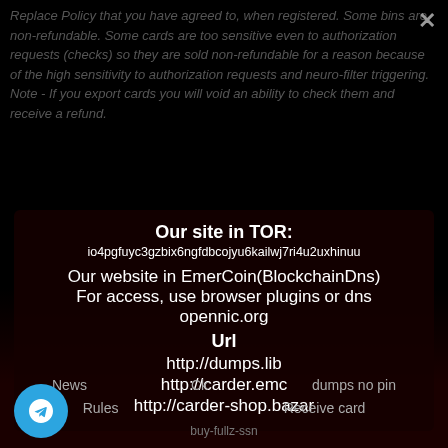Replace Policy that you have agreed to, when registered. Some bins are non-refundable. Some cards are too sensitive even to authorization requests (checks) so they are sold non-refundable for a reason because of the high sensitivity to authorization requests and neuro-filter triggering. Note - If you export cards you will void an ability to check them and receive a refund.
Our site in TOR:
io4pgfuyc3gzbix6ngfdbcojyu6kailwj7ri4u2uxhinuu
Our website in EmerCoin(BlockchainDns)
For access, use browser plugins or dns
opennic.org
Url
http://dumps.lib
http://carder.emc
http://carder-shop.bazar
News   Ck   dumps no pin   Rules   Receive card   buy-fullz-ssn